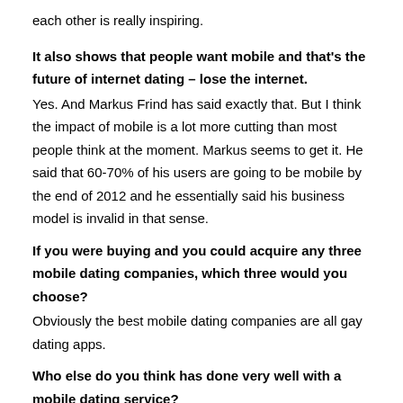each other is really inspiring.
It also shows that people want mobile and that's the future of internet dating – lose the internet.
Yes. And Markus Frind has said exactly that. But I think the impact of mobile is a lot more cutting than most people think at the moment. Markus seems to get it. He said that 60-70% of his users are going to be mobile by the end of 2012 and he essentially said his business model is invalid in that sense.
If you were buying and you could acquire any three mobile dating companies, which three would you choose?
Obviously the best mobile dating companies are all gay dating apps.
Who else do you think has done very well with a mobile dating service?
It's hard to say. In the gay market, the service model is well established and the guys have done well. In the straight market, I guess on the top of the list of companies to go after would be us.